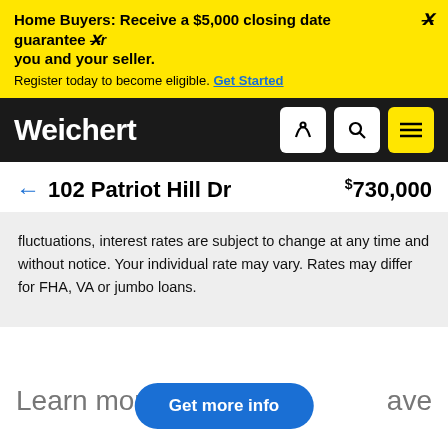Home Buyers: Receive a $5,000 closing date guarantee Xr you and your seller. Register today to become eligible. Get Started
Weichert
← 102 Patriot Hill Dr    $730,000
fluctuations, interest rates are subject to change at any time and without notice. Your individual rate may vary. Rates may differ for FHA, VA or jumbo loans.
Learn more    ave
Get more info